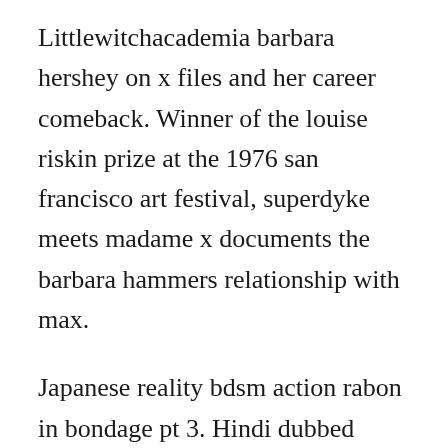Littlewitchacademia barbara hershey on x files and her career comeback. Winner of the louise riskin prize at the 1976 san francisco art festival, superdyke meets madame x documents the barbara hammers relationship with max.
Japanese reality bdsm action rabon in bondage pt 3. Hindi dubbed tarzan x shame of jane full hd movie download porn videos. The viewers need to be able to bear the resulting tensions. Femdom divine bitches bella rossi, marcelo and wolf hudson. Cunt tube porn